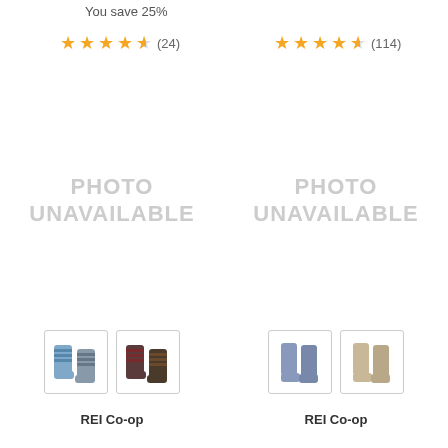You save 25%
[Figure (other): Star rating 4.5 out of 5 with 24 reviews]
[Figure (other): Star rating 4.5 out of 5 with 114 reviews]
[Figure (other): PHOTO UNAVAILABLE placeholder left column]
[Figure (other): PHOTO UNAVAILABLE placeholder right column]
[Figure (photo): Two thumbnail images of striped crew socks (blue/grey and dark/maroon colorways)]
[Figure (photo): Two thumbnail images of wool crew socks (blue/grey and tan/beige colorways)]
REI Co-op
REI Co-op